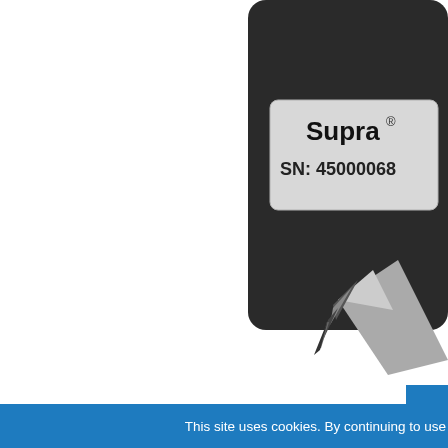[Figure (photo): A black handheld device (Supra branded) with a label showing 'Supra' logo with registered trademark symbol and serial number 'SN: 45000068'. The device appears to be a lockbox or electronic keypad device. Below it, partially visible, is a metallic pen or stylus tip. The photo is cropped showing only the upper right portion of the device.]
Feedback
This site uses cookies. By continuing to use